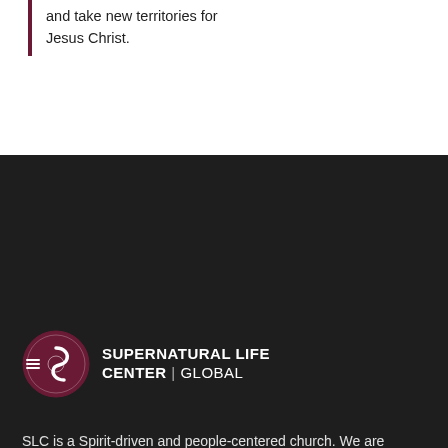and take new territories for Jesus Christ.
[Figure (logo): Supernatural Life Center Global logo — circular emblem with stylized S and C in dark maroon, beside text 'SUPERNATURAL LIFE CENTER | GLOBAL' in white bold/regular on dark background]
SLC is a Spirit-driven and people-centered church. We are called to build people, to empower people. Regardless of race, social status, ethnicity, we value each soul that walks through our door, because you are the church, not the building.
Translate This Website »